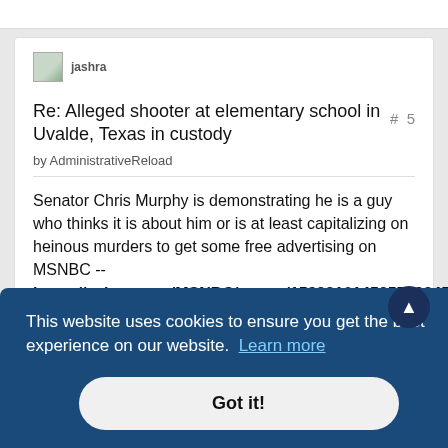[Figure (screenshot): User avatar placeholder image (broken image icon with green background)]
jashra
Re: Alleged shooter at elementary school in Uvalde, Texas in custody
by AdministrativeReload
# 5
Senator Chris Murphy is demonstrating he is a guy who thinks it is about him or is at least capitalizing on heinous murders to get some free advertising on MSNBC --
https://twitter.com/MSNBC/status/1529216145957523458
This website uses cookies to ensure you get the best experience on our website.  Learn more
Got it!